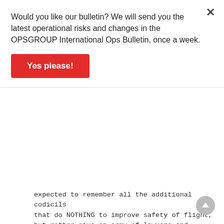Would you like our bulletin? We will send you the latest operational risks and changes in the OPSGROUP International Ops Bulletin, once a week.
Yes please!
expected to remember all the additional codicils that do NOTHING to improve safety of flight, but rather give an army of lawyers and providers more chances to fleece an already cash-strapped industry?.....Rant over!
↳ Reply